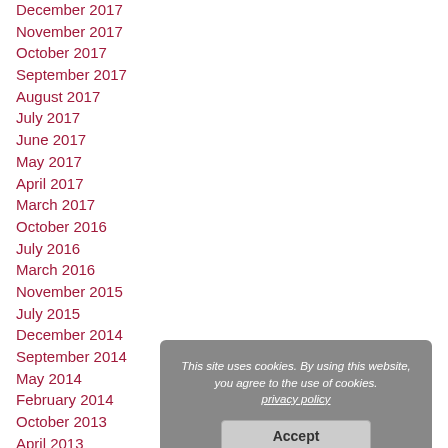December 2017
November 2017
October 2017
September 2017
August 2017
July 2017
June 2017
May 2017
April 2017
March 2017
October 2016
July 2016
March 2016
November 2015
July 2015
December 2014
September 2014
May 2014
February 2014
October 2013
April 2013
November 2012
January 2012
February 2010
This site uses cookies. By using this website, you agree to the use of cookies. privacy policy Accept